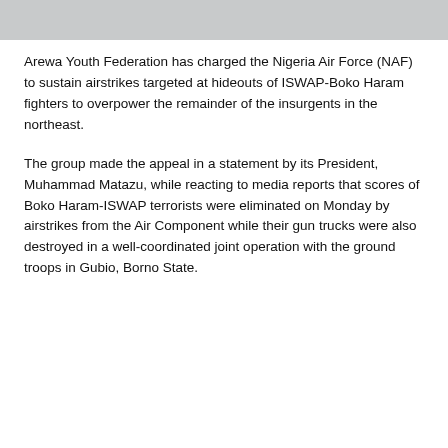[Figure (photo): Gray banner image at the top of the page]
Arewa Youth Federation has charged the Nigeria Air Force (NAF) to sustain airstrikes targeted at hideouts of ISWAP-Boko Haram fighters to overpower the remainder of the insurgents in the northeast.
The group made the appeal in a statement by its President, Muhammad Matazu, while reacting to media reports that scores of Boko Haram-ISWAP terrorists were eliminated on Monday by airstrikes from the Air Component while their gun trucks were also destroyed in a well-coordinated joint operation with the ground troops in Gubio, Borno State.